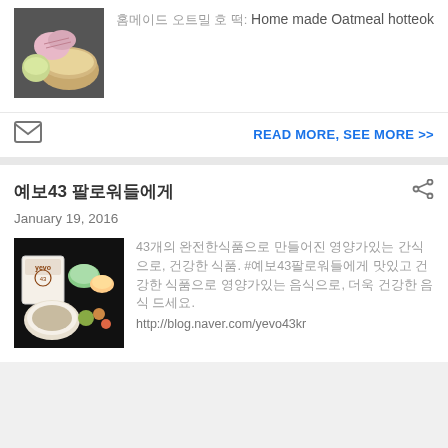[Figure (photo): Thumbnail image of hands mixing ingredients in a bowl]
홈메이드 오트밀 호 떡: Home made Oatmeal hotteok
[Figure (other): Mail envelope icon]
READ MORE, SEE MORE >>
예보43 팔로워들에게
January 19, 2016
[Figure (photo): Thumbnail image showing yevo43 product package with food items]
43개의 완전한식품으로 만들어진 영양가있는 간식으로, 건강한 식품. #예보43팔로워들에게 맛있고 건강한 식품으로 영양가있는 음식으로, 더욱 건강한 음식 드세요. http://blog.naver.com/yevo43kr